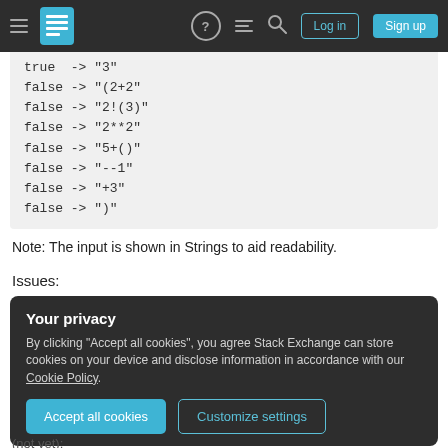Stack Exchange navigation bar with Log in and Sign up buttons
true  -> "3"
false -> "(2+2"
false -> "2!(3)"
false -> "2**2"
false -> "5+()"
false -> "--1"
false -> "+3"
false -> ")"
Note: The input is shown in Strings to aid readability.
Issues:
Your privacy
By clicking "Accept all cookies", you agree Stack Exchange can store cookies on your device and disclose information in accordance with our Cookie Policy.
Accept all cookies   Customize settings
(not yet):